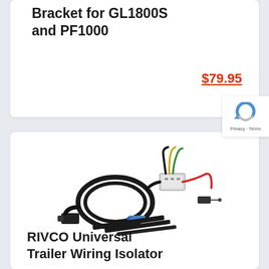Bracket for GL1800S and PF1000
$79.95
[Figure (photo): Photo of RIVCO Universal Trailer Wiring Isolator kit showing wiring harness, isolator module with colored wires, connector plug, and zip ties on white background]
RIVCO Universal Trailer Wiring Isolator